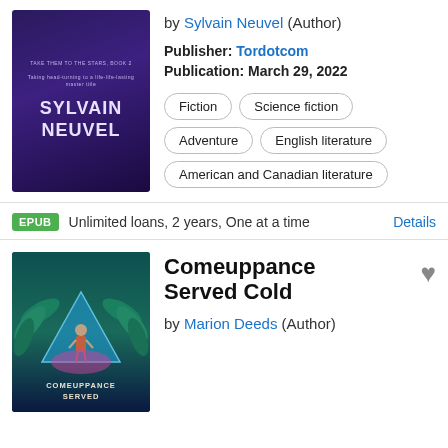[Figure (illustration): Book cover for Sylvain Neuvel with dark purple background and author name]
by Sylvain Neuvel (Author)
Publisher: Tordotcom
Publication: March 29, 2022
Fiction
Science fiction
Adventure
English literature
American and Canadian literature
EPUB  Unlimited loans, 2 years, One at a time  Details
[Figure (illustration): Book cover for Comeuppance Served Cold with art deco style illustration]
Comeuppance Served Cold
by Marion Deeds (Author)